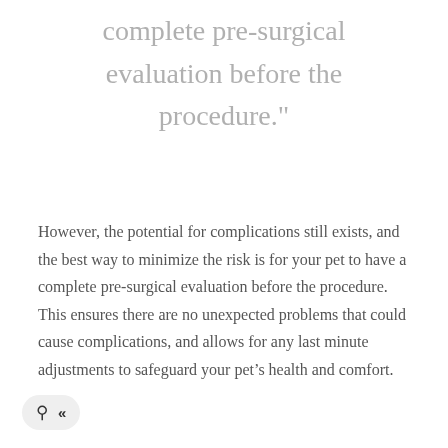complete pre-surgical evaluation before the procedure."
However, the potential for complications still exists, and the best way to minimize the risk is for your pet to have a complete pre-surgical evaluation before the procedure. This ensures there are no unexpected problems that could cause complications, and allows for any last minute adjustments to safeguard your pet’s health and comfort.